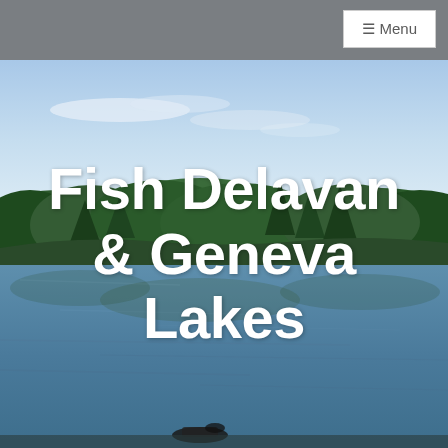≡ Menu
[Figure (photo): Outdoor lake scene with blue sky, water reflecting trees, and a dense treeline of deciduous and conifer trees in the background. A small dark watercraft is visible near the bottom of the image.]
Fish Delavan & Geneva Lakes